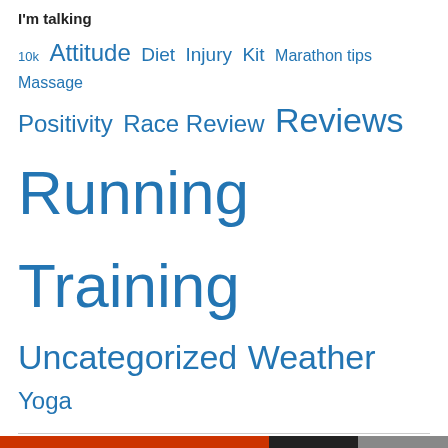I'm talking
10k  Attitude  Diet  Injury  Kit  Marathon tips  Massage  Positivity  Race Review  Reviews  Running  Training  Uncategorized  Weather  Yoga
Blogs I Follow
charity.wtf
Privacy & Cookies: This site uses cookies. By continuing to use this website, you agree to their use.
To find out more, including how to control cookies, see here: Cookie Policy